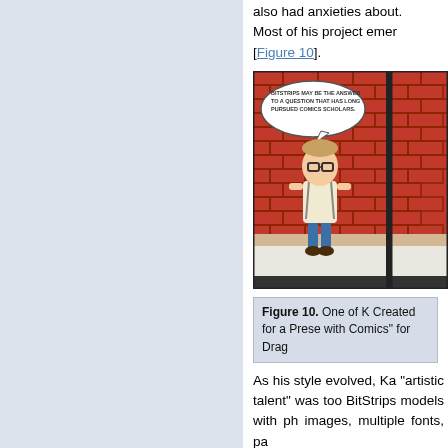also had anxieties about. Most of his project emer [Figure 10].
[Figure (illustration): A BitStrips comic panel showing a cartoon avatar of a person with glasses standing in front of a red brick wall, with a speech bubble reading 'BITSTRIPS MAY BE THE ANSWER TO A QUESTION THAT HAS LONG PURSUED COMICS SCHOLARS.']
Figure 10. One of K Created for a Prese with Comics" for Drag
As his style evolved, Ka "artistic talent" was too BitStrips models with ph images, multiple fonts, pa